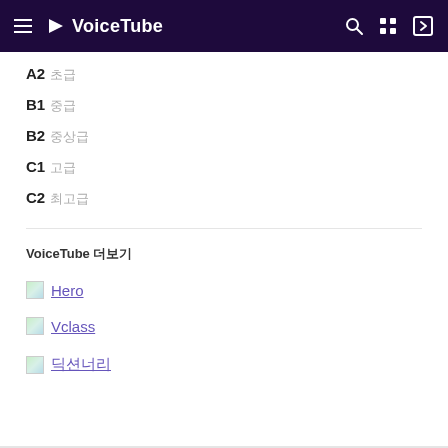VoiceTube
A2 초급
B1 중급
B2 중상급
C1 고급
C2 최고급
VoiceTube 더보기
Hero
Vclass
딕션너리